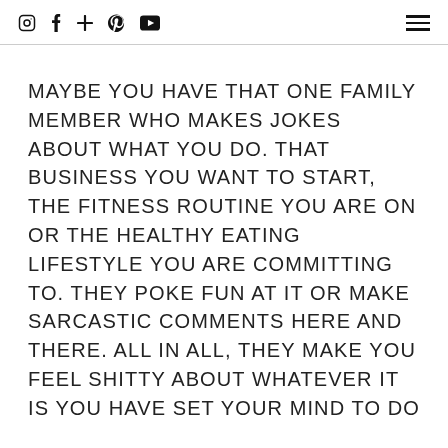Instagram Facebook + Pinterest YouTube [hamburger menu]
MAYBE YOU HAVE THAT ONE FAMILY MEMBER WHO MAKES JOKES ABOUT WHAT YOU DO. THAT BUSINESS YOU WANT TO START, THE FITNESS ROUTINE YOU ARE ON OR THE HEALTHY EATING LIFESTYLE YOU ARE COMMITTING TO. THEY POKE FUN AT IT OR MAKE SARCASTIC COMMENTS HERE AND THERE. ALL IN ALL, THEY MAKE YOU FEEL SHITTY ABOUT WHATEVER IT IS YOU HAVE SET YOUR MIND TO DO